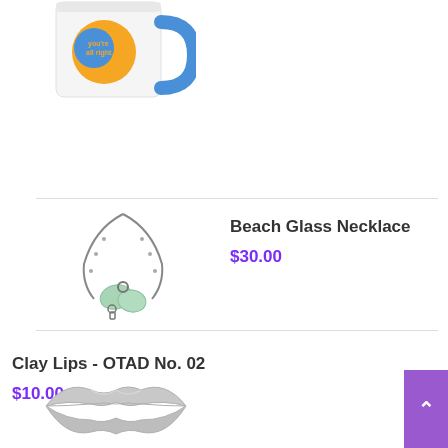[Figure (photo): White coffee mug with blue handle and colorful 'you're all right' design, partially visible at top of page]
[Figure (photo): Beach glass necklace with green sea glass pieces on a silver chain]
Beach Glass Necklace
$30.00
[Figure (photo): Gray clay lips sculpture - OTAD No. 02]
Clay Lips - OTAD No. 02
$10.00